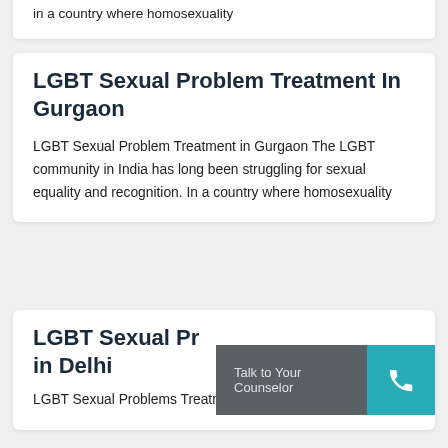in a country where homosexuality
LGBT Sexual Problem Treatment In Gurgaon
LGBT Sexual Problem Treatment in Gurgaon The LGBT community in India has long been struggling for sexual equality and recognition. In a country where homosexuality
LGBT Sexual Problem Treatment in Delhi
LGBT Sexual Problems Treatment in Delhi The
Talk to Your Counselor